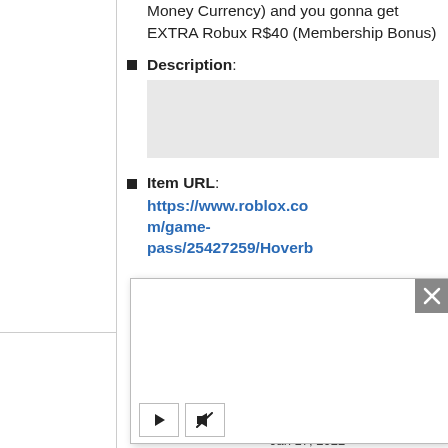Money Currency) and you gonna get EXTRA Robux R$40 (Membership Bonus)
Description:
[Figure (other): Empty gray description input box]
Item URL: https://www.roblox.com/game-pass/25427259/Hoverb
[Figure (screenshot): Modal overlay popup with close button (X), empty white content area, and two control buttons: play (triangle) and mute/audio (speaker with line through it)]
Jan 17, 2022